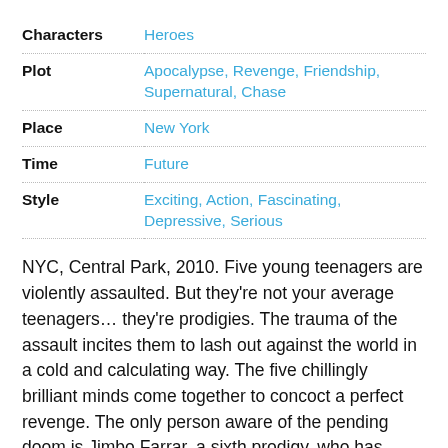| Category | Value |
| --- | --- |
| Characters | Heroes |
| Plot | Apocalypse, Revenge, Friendship, Supernatural, Chase |
| Place | New York |
| Time | Future |
| Style | Exciting, Action, Fascinating, Depressive, Serious |
NYC, Central Park, 2010. Five young teenagers are violently assaulted. But they're not your average teenagers… they're prodigies. The trauma of the assault incites them to lash out against the world in a cold and calculating way. The five chillingly brilliant minds come together to concoct a perfect revenge. The only person aware of the pending doom is Jimbo Farrar, a sixth prodigy, who has gathered them. As long as he fights against his five counterparts with all his might, there's hope for the world. But should he turn over to their side, it's only a matter of time